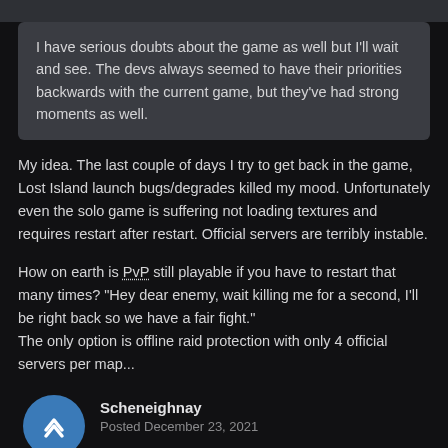I have serious doubts about the game as well but I'll wait and see. The devs always seemed to have their priorities backwards with the current game, but they've had strong moments as well.
My idea. The last couple of days I try to get back in the game, Lost Island launch bugs/degrades killed my mood. Unfortunately even the solo game is suffering not loading textures and requires restart after restart. Official servers are terribly instable.
How on earth is PvP still playable if you have to restart that many times? "Hey dear enemy, wait killing me for a second, I'll be right back so we have a fair fight."
The only option is offline raid protection with only 4 official servers per map...
Scheneighnay
Posted December 23, 2021